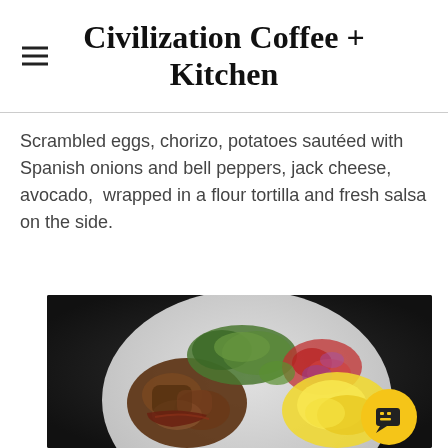Civilization Coffee + Kitchen
Scrambled eggs, chorizo, potatoes sautéed with Spanish onions and bell peppers, jack cheese, avocado,  wrapped in a flour tortilla and fresh salsa on the side.
[Figure (photo): A plate of scrambled eggs, chorizo, roasted potatoes, fresh salsa with tomatoes and red onions, and greens on a white plate against a dark background.]